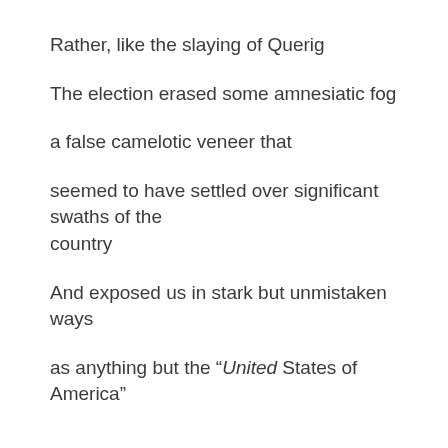Rather, like the slaying of Querig
The election erased some amnesiatic fog
a false camelotic veneer that
seemed to have settled over significant swaths of the country
And exposed us in stark but unmistaken ways
as anything but the “United States of America”
And what do believers do in the midst of such conflict and division